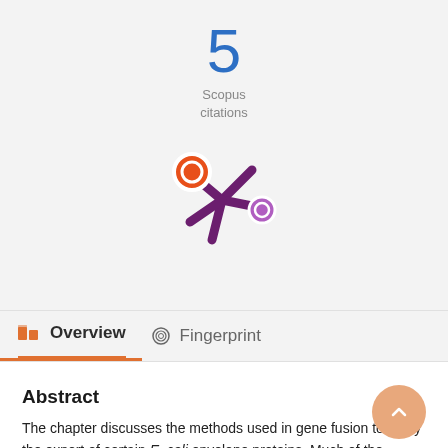5
Scopus
citations
[Figure (logo): Altmetric/PlumX style logo with orange and purple circles connected by dark purple asterisk/star shape]
Overview   Fingerprint
Abstract
The chapter discusses the methods used in gene fusion to study the export of certain E. coli envelope proteins. Much of the